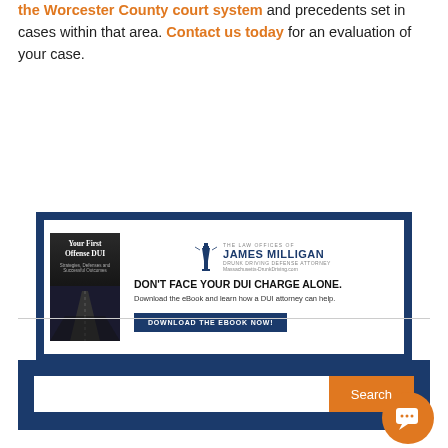the Worcester County court system and precedents set in cases within that area. Contact us today for an evaluation of your case.
[Figure (infographic): Advertisement banner for Law Offices of James Milligan DUI attorney. Contains book cover 'Your First Offense DUI', law firm logo, headline 'DON'T FACE YOUR DUI CHARGE ALONE.', subtext 'Download the eBook and learn how a DUI attorney can help.', and a 'DOWNLOAD THE EBOOK NOW!' button.]
[Figure (infographic): Search bar area on dark blue background with white text input field, orange Search button, and orange chat bubble icon in bottom right corner.]